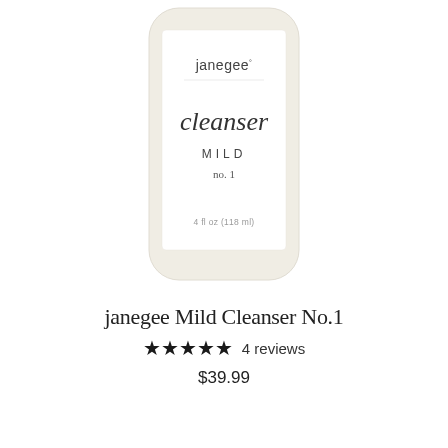[Figure (photo): A cream-colored glass bottle of janegee Mild Cleanser No.1 (4 fl oz / 118 ml), showing the bottle label with the brand name 'janegee', product name 'cleanser' in script, 'MILD' in caps, 'no. 1', and volume. The bottle is on a white background.]
janegee Mild Cleanser No.1
★★★★★ 4 reviews
$39.99